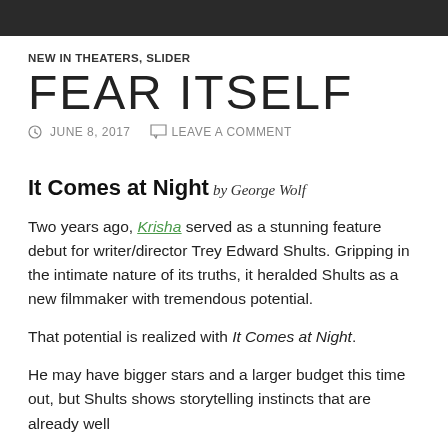NEW IN THEATERS, SLIDER
FEAR ITSELF
JUNE 8, 2017   LEAVE A COMMENT
It Comes at Night
by George Wolf
Two years ago, Krisha served as a stunning feature debut for writer/director Trey Edward Shults. Gripping in the intimate nature of its truths, it heralded Shults as a new filmmaker with tremendous potential.
That potential is realized with It Comes at Night.
He may have bigger stars and a larger budget this time out, but Shults shows storytelling instincts that are already well